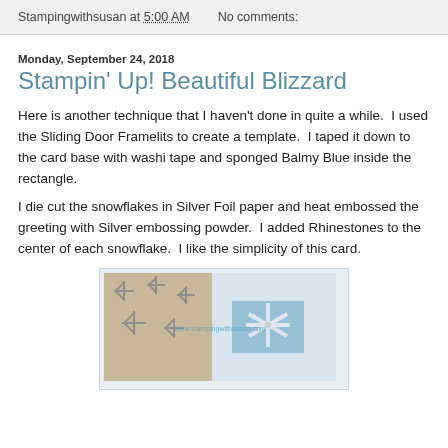Stampingwithsusan at 5:00 AM   No comments:
Monday, September 24, 2018
Stampin' Up! Beautiful Blizzard
Here is another technique that I haven't done in quite a while.  I used the Sliding Door Framelits to create a template.  I taped it down to the card base with washi tape and sponged Balmy Blue inside the rectangle.
I die cut the snowflakes in Silver Foil paper and heat embossed the greeting with Silver embossing powder.  I added Rhinestones to the center of each snowflake.  I like the simplicity of this card.
[Figure (photo): Photo of handmade cards featuring snowflake designs with silver foil and a blue sponged rectangle, watermarked with www.stampingwithsusan.com]